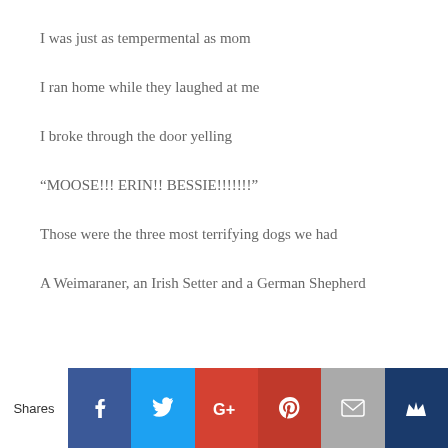I was just as tempermental as mom
I ran home while they laughed at me
I broke through the door yelling
“MOOSE!!! ERIN!! BESSIE!!!!!!!”
Those were the three most terrifying dogs we had
A Weimaraner, an Irish Setter and a German Shepherd
Shares [Facebook] [Twitter] [Google+] [Pinterest] [Email] [Crown]